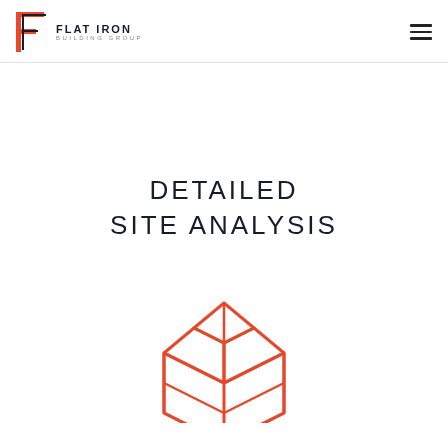FLAT IRON BUILDING GROUP
DETAILED SITE ANALYSIS
[Figure (illustration): Open cardboard box icon in orange outline style]